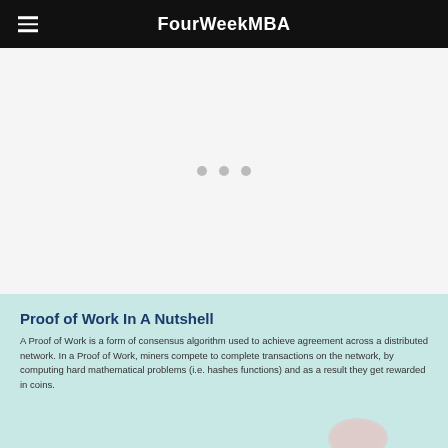FourWeekMBA
[Figure (other): Large white/light gray content area with loading dots (three gray circles) in the center, likely a loading or placeholder image area]
Proof of Work In A Nutshell
A Proof of Work is a form of consensus algorithm used to achieve agreement across a distributed network. In a Proof of Work, miners compete to complete transactions on the network, by computing hard mathematical problems (i.e. hashes functions) and as a result they get rewarded in coins.